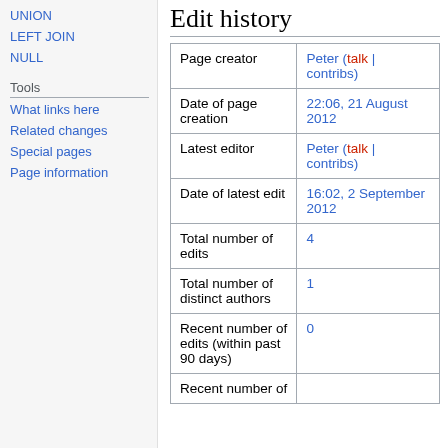UNION
LEFT JOIN
NULL
Tools
What links here
Related changes
Special pages
Page information
Edit history
| Page creator | Peter (talk | contribs) |
| Date of page creation | 22:06, 21 August 2012 |
| Latest editor | Peter (talk | contribs) |
| Date of latest edit | 16:02, 2 September 2012 |
| Total number of edits | 4 |
| Total number of distinct authors | 1 |
| Recent number of edits (within past 90 days) | 0 |
| Recent number of |  |